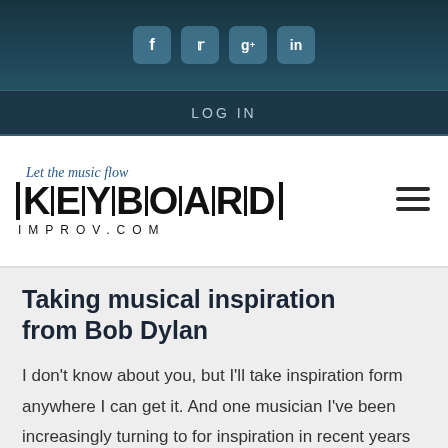Social icons: f, Twitter, g+, in
LOG IN
[Figure (logo): KeyboardImprov.com logo with tagline 'Let the music flow']
Taking musical inspiration from Bob Dylan
I don't know about you, but I'll take inspiration form anywhere I can get it. And one musician I've been increasingly turning to for inspiration in recent years is Bob